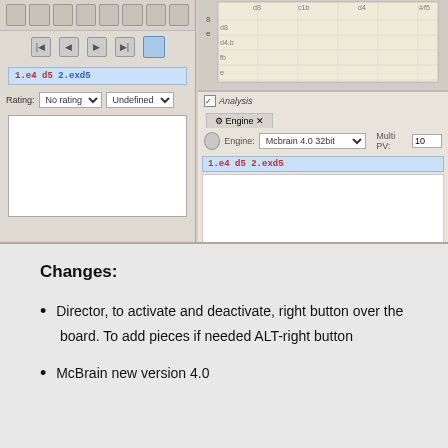[Figure (screenshot): Screenshot of a chess software interface showing two panels: left panel with toolbar, navigation buttons, evaluation bar showing '1.e4 d5 2.exd5', rating dropdown set to 'No rating' and 'Undefined', and a white comment box; right panel showing a chess board grid with rank/file labels, and an Analysis section with Engine tab, McBrain 4.0 32bit engine selected, Multi PV set to 10, evaluation line '1.e4 d5 2.exd5', and engine output area.]
Changes:
Director, to activate and deactivate, right button over the board. To add pieces if needed ALT-right button
McBrain new version 4.0